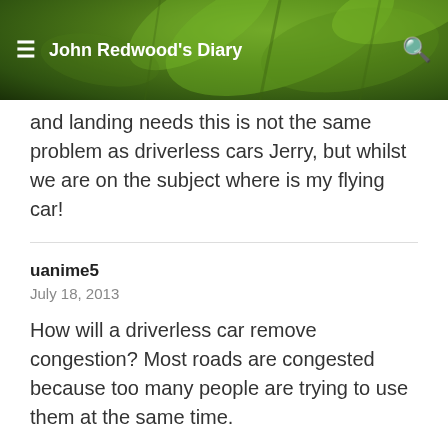John Redwood's Diary
and landing needs this is not the same problem as driverless cars Jerry, but whilst we are on the subject where is my flying car!
uanime5
July 18, 2013
How will a driverless car remove congestion? Most roads are congested because too many people are trying to use them at the same time.
Also traffic controls will still be needed for when pedestrians want to cross the road.